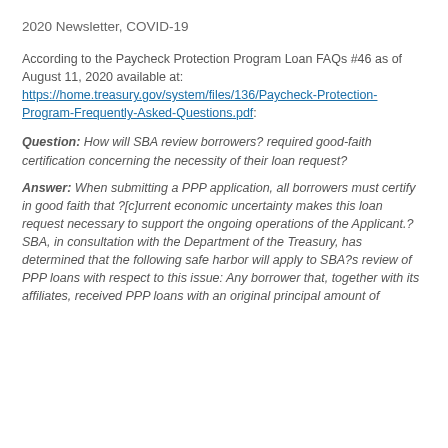2020 Newsletter, COVID-19
According to the Paycheck Protection Program Loan FAQs #46 as of August 11, 2020 available at: https://home.treasury.gov/system/files/136/Paycheck-Protection-Program-Frequently-Asked-Questions.pdf:
Question: How will SBA review borrowers? required good-faith certification concerning the necessity of their loan request?
Answer: When submitting a PPP application, all borrowers must certify in good faith that ?[c]urrent economic uncertainty makes this loan request necessary to support the ongoing operations of the Applicant.? SBA, in consultation with the Department of the Treasury, has determined that the following safe harbor will apply to SBA?s review of PPP loans with respect to this issue: Any borrower that, together with its affiliates, received PPP loans with an original principal amount of